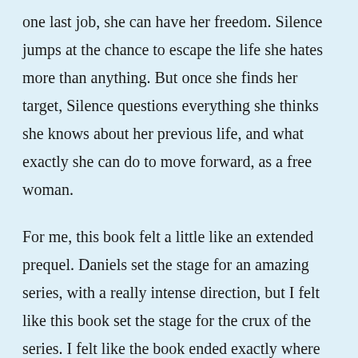one last job, she can have her freedom. Silence jumps at the chance to escape the life she hates more than anything. But once she finds her target, Silence questions everything she thinks she knows about her previous life, and what exactly she can do to move forward, as a free woman.
For me, this book felt a little like an extended prequel. Daniels set the stage for an amazing series, with a really intense direction, but I felt like this book set the stage for the crux of the series. I felt like the book ended exactly where Silence's real journey to freedom starts. She now has every opportunity to live free, discover her past, and take revenge on the man who held her captive for so